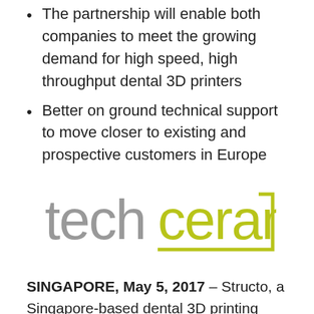The partnership will enable both companies to meet the growing demand for high speed, high throughput dental 3D printers
Better on ground technical support to move closer to existing and prospective customers in Europe
[Figure (logo): Techceram logo: 'tech' in grey lowercase sans-serif, 'ceram' in yellow-green lowercase sans-serif, with a yellow-green bracket/underline on the right side]
SINGAPORE, May 5, 2017 – Structo, a Singapore-based dental 3D printing solutions provider, announced distribution partnership with Techceram – one of the industry's leading resellers of CAD/CAM solutions. The agreement came into effect in April 2017, and will allow Techceram to offer the full range of Structo products to its UK community.
“We are very happy to have Techceram as our UK distributor. Their demonstrated expertise and